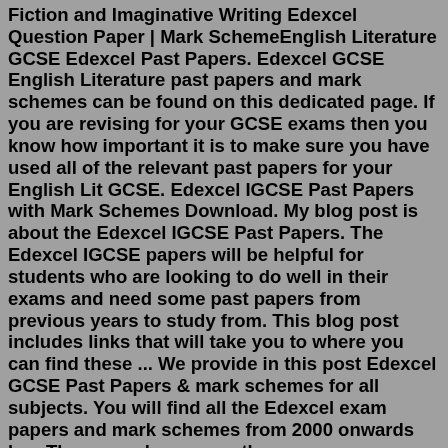Fiction and Imaginative Writing Edexcel Question Paper | Mark SchemeEnglish Literature GCSE Edexcel Past Papers. Edexcel GCSE English Literature past papers and mark schemes can be found on this dedicated page. If you are revising for your GCSE exams then you know how important it is to make sure you have used all of the relevant past papers for your English Lit GCSE. Edexcel IGCSE Past Papers with Mark Schemes Download. My blog post is about the Edexcel IGCSE Past Papers. The Edexcel IGCSE papers will be helpful for students who are looking to do well in their exams and need some past papers from previous years to study from. This blog post includes links that will take you to where you can find these ... We provide in this post Edexcel GCSE Past Papers & mark schemes for all subjects. You will find all the Edexcel exam papers and mark schemes from 2000 onwards her. There are also many other resources available such as revision guides and tutorials that can help you prepare for your exams if any issue please contact with me via